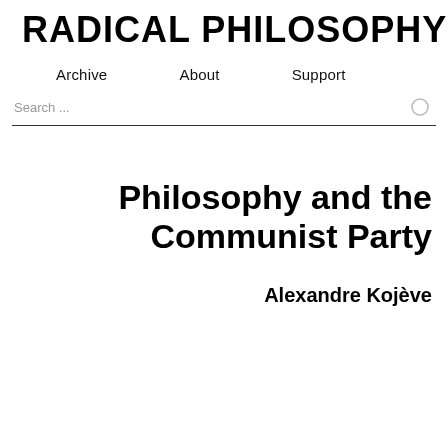RADICAL PHILOSOPHY
Archive
About
Support
Search ...
Philosophy and the Communist Party
Alexandre Kojève